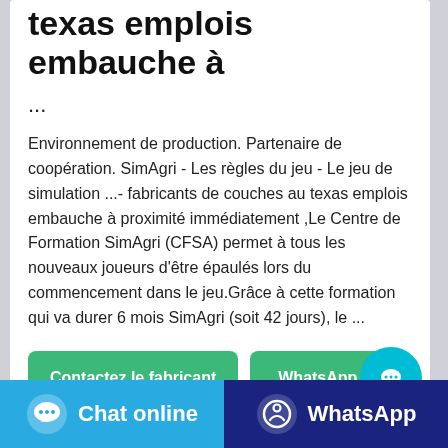texas emplois embauche à
...
Environnement de production. Partenaire de coopération. SimAgri - Les règles du jeu - Le jeu de simulation ...- fabricants de couches au texas emplois embauche à proximité immédiatement ,Le Centre de Formation SimAgri (CFSA) permet à tous les nouveaux joueurs d'être épaulés lors du commencement dans le jeu.Grâce à cette formation qui va durer 6 mois SimAgri (soit 42 jours), le ...
[Figure (other): Two green buttons: 'Contactez le fabricant' and 'WhatsApp', with a cyan circular chat bubble button on the right]
[Figure (other): A light gray progress/loading bar]
[Figure (other): Bottom bar with two sections: cyan 'Chat online' button on left and dark blue 'WhatsApp' button on right, each with icons]